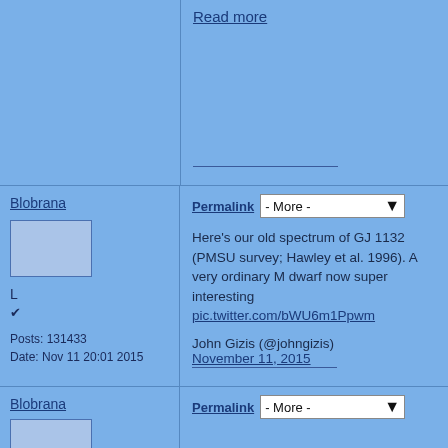Read more
Blobrana
L
✔
Posts: 131433
Date: Nov 11 20:01 2015
Permalink
- More -
Here's our old spectrum of GJ 1132 (PMSU survey; Hawley et al. 1996). A very ordinary M dwarf now super interesting pic.twitter.com/bWU6m1Ppwm

John Gizis (@johngizis)
November 11, 2015
Blobrana
Permalink
- More -